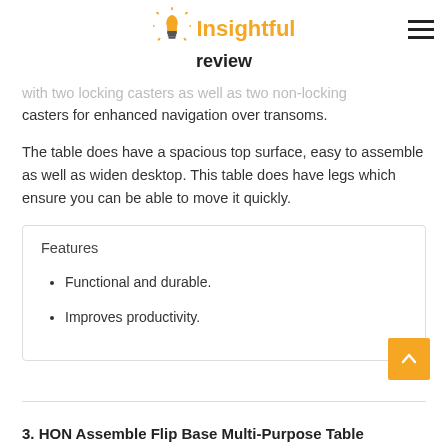Insightful review
with two locking casters as well as two non-locking casters for enhanced navigation over transoms.
The table does have a spacious top surface, easy to assemble as well as widen desktop. This table does have legs which ensure you can be able to move it quickly.
Features
Functional and durable.
Improves productivity.
3. HON Assemble Flip Base Multi-Purpose Table